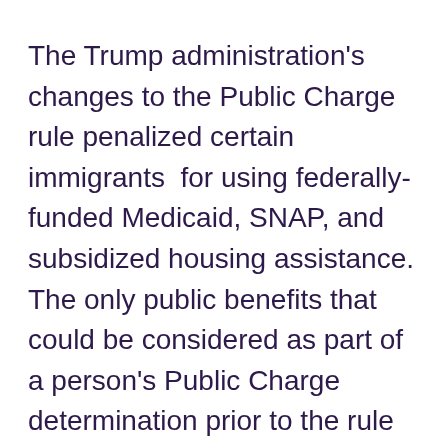The Trump administration's changes to the Public Charge rule penalized certain immigrants  for using federally-funded Medicaid, SNAP, and subsidized housing assistance. The only public benefits that could be considered as part of a person's Public Charge determination prior to the rule changes were cash benefits and long-term medical care paid for by the government.
Many immigrants will continue to be exempt from the public charge determination, including asylees, refugees, and survivors of trafficking and domestic violence. Legal permanent residents applying for citizenship are also not subject to the rule. New Yorkers who have concerns about